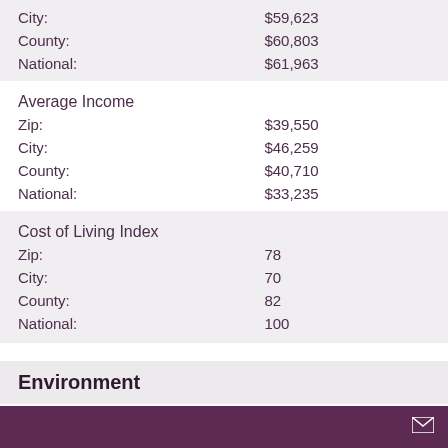|  |  |
| --- | --- |
| City: | $59,623 |
| County: | $60,803 |
| National: | $61,963 |
Average Income
|  |  |
| --- | --- |
| Zip: | $39,550 |
| City: | $46,259 |
| County: | $40,710 |
| National: | $33,235 |
Cost of Living Index
|  |  |
| --- | --- |
| Zip: | 78 |
| City: | 70 |
| County: | 82 |
| National: | 100 |
Environment
January Avg. Low Temp
|  |  |
| --- | --- |
| Zip: | 52.1 |